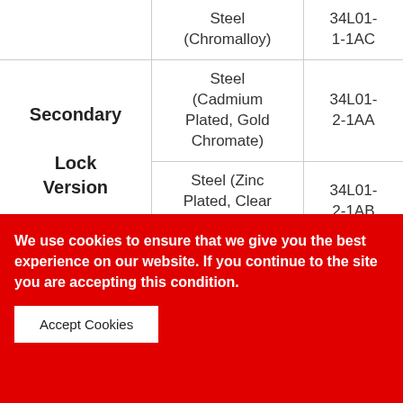|  | Material | Part Number |
| --- | --- | --- |
|  | Steel (Chromalloy) | 34L01-1-1AC |
| Secondary Lock Version | Steel (Cadmium Plated, Gold Chromate) | 34L01-2-1AA |
| Secondary Lock Version | Steel (Zinc Plated, Clear Chromate) | 34L01-2-1AB |
We use cookies to ensure that we give you the best experience on our website. If you continue to the site you are accepting this condition.